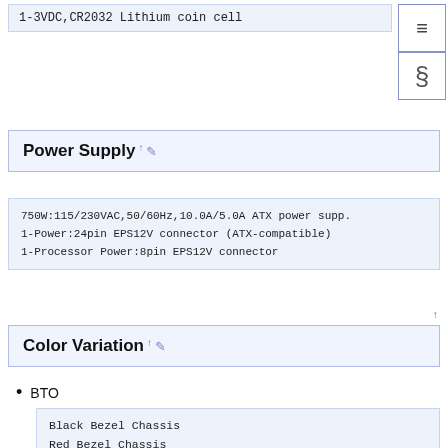1-3VDC,CR2032 Lithium coin cell
Power Supply
750W:115/230VAC,50/60Hz,10.0A/5.0A ATX power supp.
1-Power:24pin EPS12V connector (ATX-compatible)
1-Processor Power:8pin EPS12V connector
Color Variation
BTO
Black Bezel Chassis
Red Bezel Chassis
Chassis